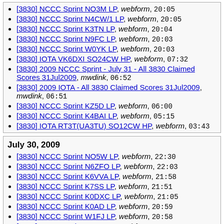[3830] NCCC Sprint NO3M LP, webform, 20:05
[3830] NCCC Sprint N4CW/1 LP, webform, 20:05
[3830] NCCC Sprint K3TN LP, webform, 20:04
[3830] NCCC Sprint N9FC LP, webform, 20:03
[3830] NCCC Sprint W0YK LP, webform, 20:03
[3830] IOTA VK6DXI SO24CW HP, webform, 07:32
[3830] 2009 NCCC Sprint - July 31 - All 3830 Claimed Scores 31Jul2009, mwdink, 06:52
[3830] 2009 IOTA - All 3830 Claimed Scores 31Jul2009, mwdink, 06:51
[3830] NCCC Sprint KZ5D LP, webform, 06:00
[3830] NCCC Sprint K4BAI LP, webform, 05:15
[3830] IOTA RT3T(UA3TU) SO12CW HP, webform, 03:43
July 30, 2009
[3830] NCCC Sprint NO5W LP, webform, 22:30
[3830] NCCC Sprint N6ZFO LP, webform, 22:03
[3830] NCCC Sprint K6VVA LP, webform, 21:58
[3830] NCCC Sprint K7SS LP, webform, 21:51
[3830] NCCC Sprint K0DXC LP, webform, 21:05
[3830] NCCC Sprint K0AD LP, webform, 20:59
[3830] NCCC Sprint W1FJ LP, webform, 20:58
[3830] NCCC Sprint W0BH LP, webform, 20:54
[3830] NCCC Sprint K9BGL LP, webform, 20:48